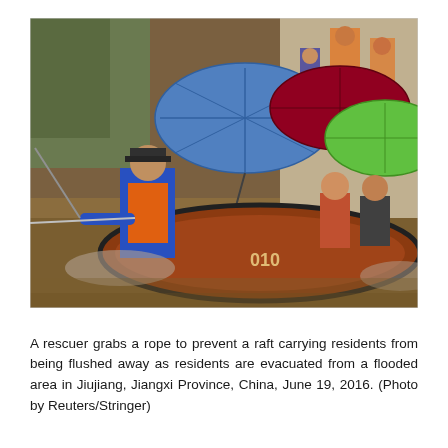[Figure (photo): A rescuer in a blue raincoat and orange life vest grabs a rope attached to an inflatable rubber raft numbered '010' navigating floodwaters. Several residents including children sit in the raft sheltering under umbrellas (blue checkered, red/maroon, and green). Other people are visible in the background near a building. The floodwaters are muddy brown and turbulent.]
A rescuer grabs a rope to prevent a raft carrying residents from being flushed away as residents are evacuated from a flooded area in Jiujiang, Jiangxi Province, China, June 19, 2016. (Photo by Reuters/Stringer)